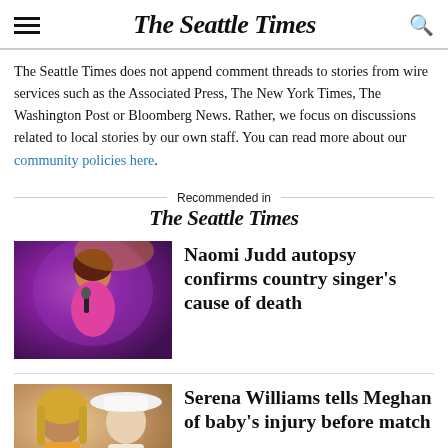The Seattle Times
The Seattle Times does not append comment threads to stories from wire services such as the Associated Press, The New York Times, The Washington Post or Bloomberg News. Rather, we focus on discussions related to local stories by our own staff. You can read more about our community policies here.
Recommended in The Seattle Times
[Figure (photo): Photo of Naomi Judd performing, wearing a pink satin outfit and holding a microphone, with purple stage lighting]
Naomi Judd autopsy confirms country singer's cause of death
[Figure (photo): Photo of two women, one with long blonde hair and one wearing a white wide-brimmed hat]
Serena Williams tells Meghan of baby's injury before match